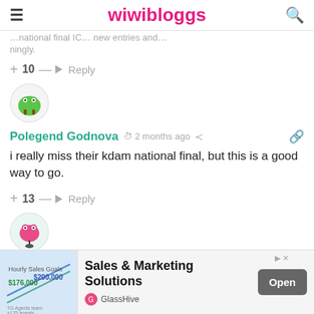wiwibloggs
+ 10 — Reply
Polegend Godnova · 2 months ago
i really miss their kdam national final, but this is a good way to go.
+ 13 — Reply
Thallo · 2 months ago
...tly an internal selection for Israel sounds AMAZING!
[Figure (screenshot): Advertisement banner for Sales & Marketing Solutions by GlassHive with Open button]